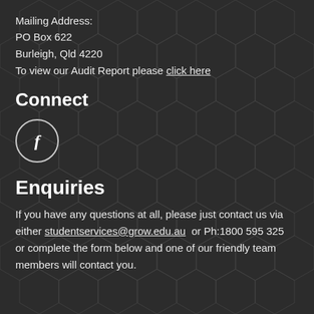Mailing Address:
PO Box 622
Burleigh, Qld 4220
To view our Audit Report please click here
Connect
[Figure (illustration): Facebook icon: circle with letter f inside]
Enquiries
If you have any questions at all, please just contact us via either studentservices@grow.edu.au  or Ph:1800 595 325  or complete the form below and one of our friendly team members will contact you.